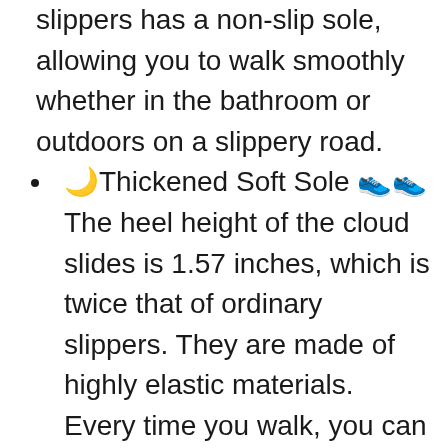slippers has a non-slip sole, allowing you to walk smoothly whether in the bathroom or outdoors on a slippery road.
🌙Thickened Soft Sole 👟The heel height of the cloud slides is 1.57 inches, which is twice that of ordinary slippers. They are made of highly elastic materials. Every time you walk, you can feel the sinking and rebounding process, just as comfortable as walking on a sofa.
🌙Any Occasion🌙: Cloud slides for women and men are quite suitable